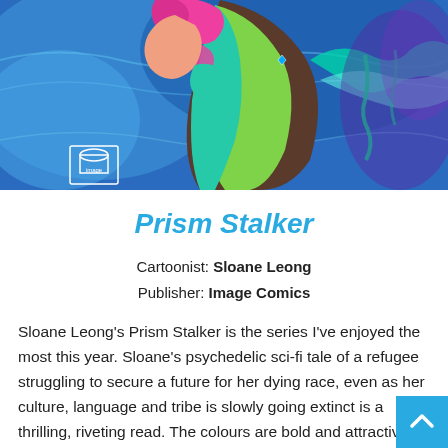[Figure (illustration): Comic book cover art for Prism Stalker showing a colorful sci-fi character with pink hair and a green/teal outfit against a blue background, with the Image Comics logo visible in the lower left.]
Prism Stalker
Cartoonist: Sloane Leong
Publisher: Image Comics
Sloane Leong's Prism Stalker is the series I've enjoyed the most this year. Sloane's psychedelic sci-fi tale of a refugee struggling to secure a future for her dying race, even as her culture, language and tribe is slowly going extinct is a thrilling, riveting read. The colours are bold and attractive. Space is portrayed with deep shades of purple crisscrossed with bright